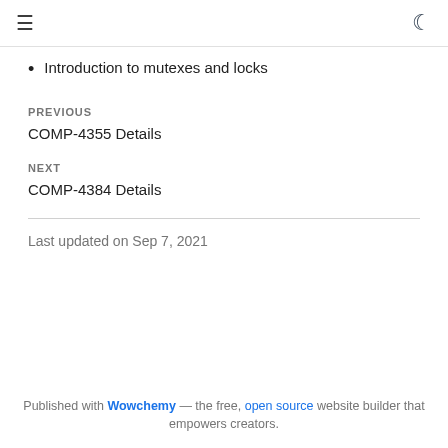≡  🌙
Introduction to mutexes and locks
PREVIOUS
COMP-4355 Details
NEXT
COMP-4384 Details
Last updated on Sep 7, 2021
Published with Wowchemy — the free, open source website builder that empowers creators.